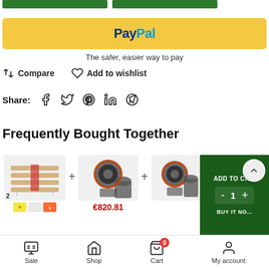[Figure (screenshot): PayPal payment button - yellow rounded rectangle with PayPal logo in dark blue and light blue]
The safer, easier way to pay
⇄ Compare   ♡ Add to wishlist
Share: [Facebook] [Twitter] [Pinterest] [LinkedIn] [Telegram]
Frequently Bought Together
[Figure (screenshot): Frequently Bought Together product section showing grow light, fan kits with + signs between them, price €820.81, quantity selector and add to cart overlay]
Sale | Shop | Cart 0 | My account